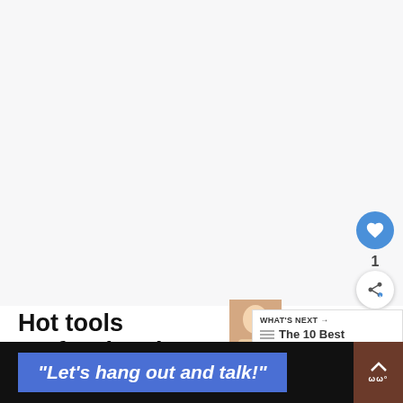[Figure (screenshot): Large light gray content area representing a webpage screenshot with a like/share button overlay on the right side]
Hot tools professional curling wand
WHAT'S NEXT → The 10 Best Curling Wan...
"Let's hang out and talk!"